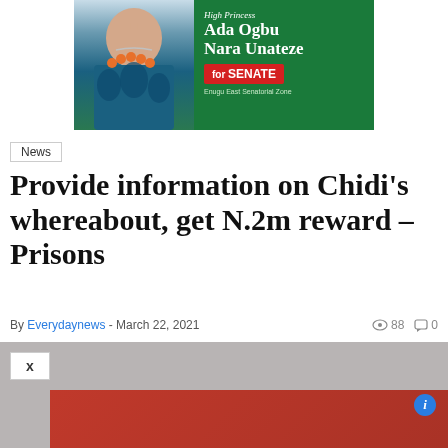[Figure (photo): Advertisement banner for High Princess Ada Ogbu Nara Unateze for Senate, Enugu East Senatorial Zone. Features a woman in blue traditional attire with orange bead necklace on a green background.]
News
Provide information on Chidi's whereabout, get N.2m reward – Prisons
By Everydaynews - March 22, 2021   88  0
[Figure (photo): Photo area with a red/maroon block, an X close button, and an information icon (i). Background is grey.]